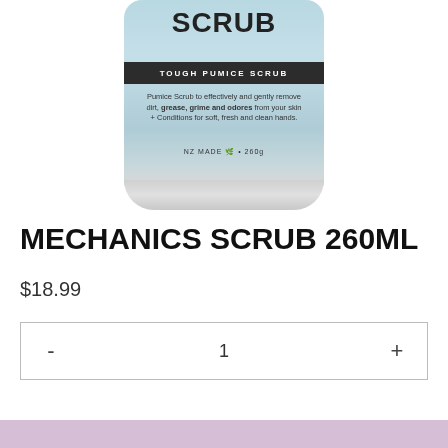[Figure (photo): A light blue cylindrical container of Mechanics Scrub - Tough Pumice Scrub, 260g, NZ Made. The label shows bold text 'SCRUB' at the top, a dark band reading 'TOUGH PUMICE SCRUB', product description text, and NZ Made branding.]
MECHANICS SCRUB 260ML
$18.99
- 1 +